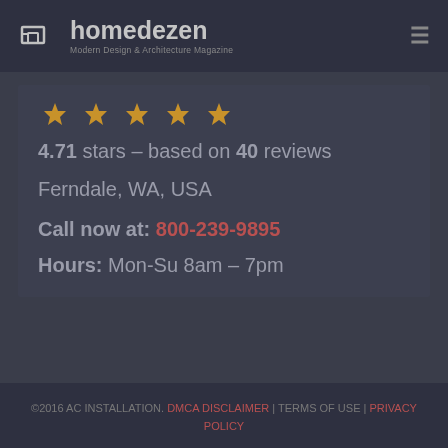homedezen – Modern Design & Architecture Magazine
[Figure (other): Five gold/amber star rating icons (ribbon-style stars)]
4.71 stars – based on 40 reviews
Ferndale, WA, USA
Call now at: 800-239-9895
Hours: Mon-Su 8am – 7pm
©2016 AC INSTALLATION. DMCA DISCLAIMER | TERMS OF USE | PRIVACY POLICY